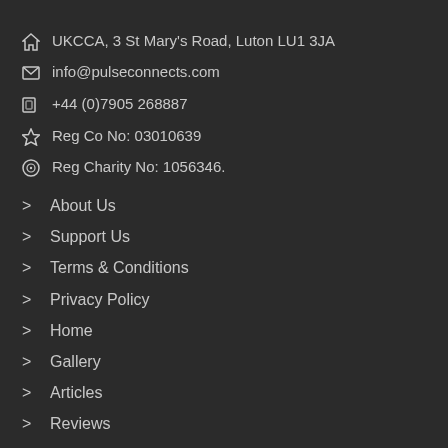UKCCA, 3 St Mary's Road, Luton LU1 3JA
info@pulseconnects.com
+44 (0)7905 268887
Reg Co No: 03010639
Reg Charity No: 1056346.
About Us
Support Us
Terms & Conditions
Privacy Policy
Home
Gallery
Articles
Reviews
Blog